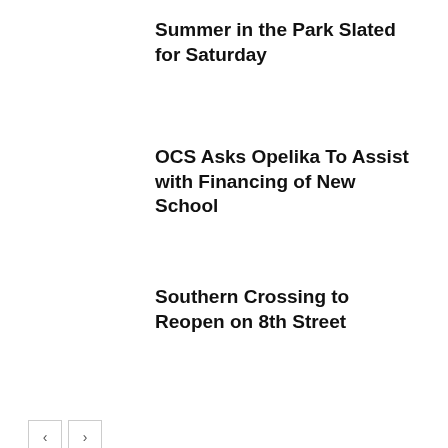Summer in the Park Slated for Saturday
OCS Asks Opelika To Assist with Financing of New School
Southern Crossing to Reopen on 8th Street
LEAVE A REPLY
Comment: